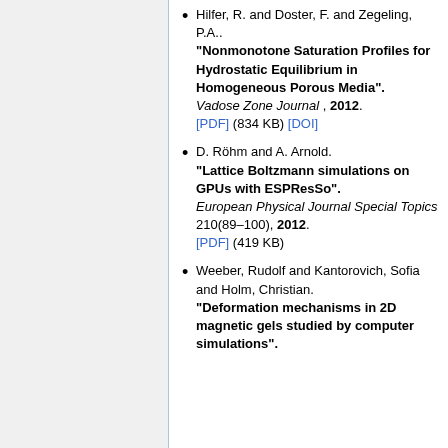Hilfer, R. and Doster, F. and Zegeling, P.A.. "Nonmonotone Saturation Profiles for Hydrostatic Equilibrium in Homogeneous Porous Media". Vadose Zone Journal , 2012. [PDF] (834 KB) [DOI]
D. Röhm and A. Arnold. "Lattice Boltzmann simulations on GPUs with ESPResSo". European Physical Journal Special Topics 210(89–100), 2012. [PDF] (419 KB)
Weeber, Rudolf and Kantorovich, Sofia and Holm, Christian. "Deformation mechanisms in 2D magnetic gels studied by computer simulations".